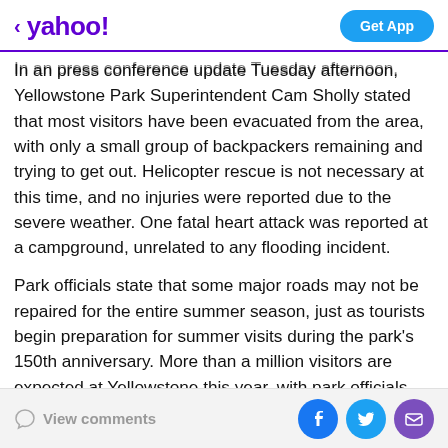yahoo! | Get App
In an press conference update Tuesday afternoon, Yellowstone Park Superintendent Cam Sholly stated that most visitors have been evacuated from the area, with only a small group of backpackers remaining and trying to get out. Helicopter rescue is not necessary at this time, and no injuries were reported due to the severe weather. One fatal heart attack was reported at a campground, unrelated to any flooding incident.
Park officials state that some major roads may not be repaired for the entire summer season, just as tourists begin preparation for summer visits during the park's 150th anniversary. More than a million visitors are expected at Yellowstone this year, with park officials still
View comments